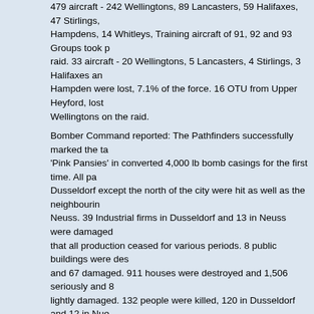479 aircraft - 242 Wellingtons, 89 Lancasters, 59 Halifaxes, 47 Stirlings, Hampdens, 14 Whitleys, Training aircraft of 91, 92 and 93 Groups took p raid. 33 aircraft - 20 Wellingtons, 5 Lancasters, 4 Stirlings, 3 Halifaxes an Hampden were lost, 7.1% of the force. 16 OTU from Upper Heyford, lost Wellingtons on the raid.
Bomber Command reported: The Pathfinders successfully marked the ta 'Pink Pansies' in converted 4,000 lb bomb casings for the first time. All pa Dusseldorf except the north of the city were hit as well as the neighbourin Neuss. 39 Industrial firms in Dusseldorf and 13 in Neuss were damaged that all production ceased for various periods. 8 public buildings were des and 67 damaged. 911 houses were destroyed and 1,506 seriously and 8 lightly damaged. 132 people were killed, 120 in Dusseldorf and 12 in Nue further people were still classed as missing 2 days later and 19.247 peop bombed out.
Sgt. Cato's final operation was as Captain in Halifax W.1066 DY-G, one c from 102 Sqn detailed to attack Flensburg 1/2 October 1942 and took off The Weather was 7/10 cloud - tops 15,000 ft, good visibility. Of the 4 airc detailed one Halifax W.7746 Captained by P/O R.Williams did not take of Halifax R.9497 Captained by Sgt A.V. Briggs bombed the target and retu other Halifax Captained by Sgt R. Matthews was reported missing. Sgt C his crew were also reported missing his new crew were as follows: Sgt Percy Charles Cato 1261952 RAFVR age 27 - listed as F/Sgt on his Kiel War Cemetary Sgt George Andrew McIntire (the Navigator RAFVR 1197253 was old fo